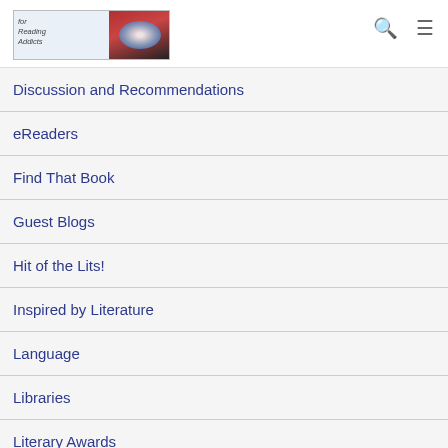For Reading Addicts [logo] [search icon] [menu icon]
Discussion and Recommendations
eReaders
Find That Book
Guest Blogs
Hit of the Lits!
Inspired by Literature
Language
Libraries
Literary Awards
Literary Events